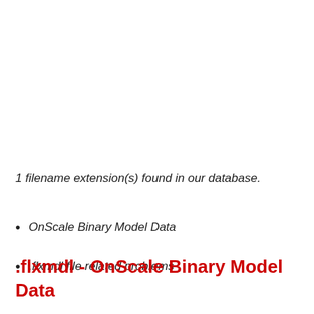1 filename extension(s) found in our database.
OnScale Binary Model Data
.flxmdl file related problems
.flxmdl - OnScale Binary Model Data